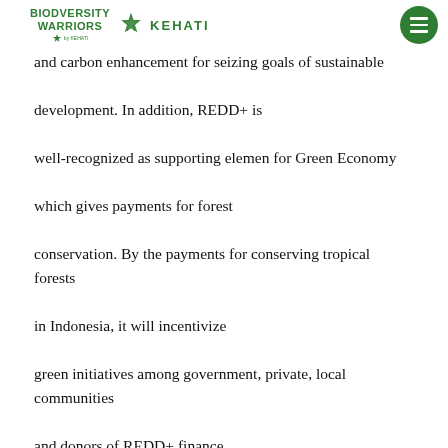BIODIVERSITY WARRIORS by KEHATI | KEHATI
and carbon enhancement for seizing goals of sustainable development. In addition, REDD+ is well-recognized as supporting elemen for Green Economy which gives payments for forest conservation. By the payments for conserving tropical forests in Indonesia, it will incentivize green initiatives among government, private, local communities and donors of REDD+ finance. For instance, REDD+ finance deployed to local communities will be utilized for evolving ecotourism, aiming for forest conservation with remaining the achievement of SDGs. It could be intended that both a Green Economy and REDD+ initiative are